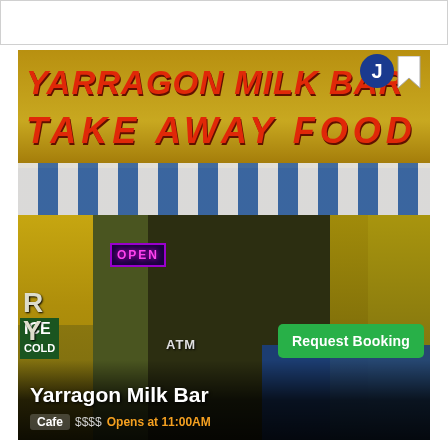[Figure (photo): Photograph of Yarragon Milk Bar storefront at dusk/evening showing illuminated yellow and red signage reading 'YARRAGON MILK BAR' and 'TAKE AWAY FOOD', blue and white striped awning, neon OPEN sign, ATM, and Request Booking button overlay]
Yarragon Milk Bar
Cafe  $$$$  Opens at 11:00AM